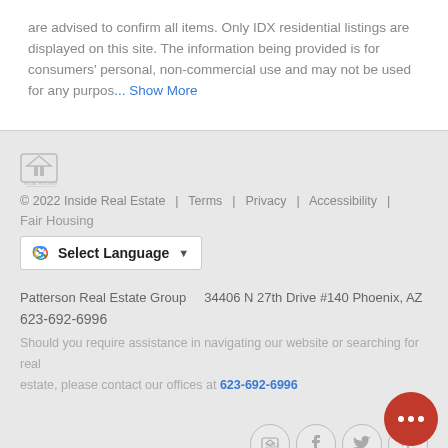are advised to confirm all items. Only IDX residential listings are displayed on this site. The information being provided is for consumers' personal, non-commercial use and may not be used for any purpos... Show More
© 2022 Inside Real Estate | Terms | Privacy | Accessibility | Fair Housing
[Figure (other): Google Translate Select Language widget button]
Patterson Real Estate Group   34406 N 27th Drive #140 Phoenix, AZ
623-692-6996
Should you require assistance in navigating our website or searching for real estate, please contact our offices at 623-692-6996